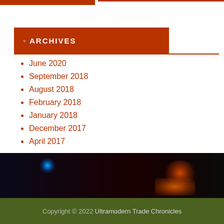ARCHIVES
June 2020
September 2018
August 2018
February 2018
January 2018
December 2017
April 2017
[Figure (photo): Dark background image with blue and orange/red glowing light spots]
Copyright © 2022 Ultramodern Trade Chronicles